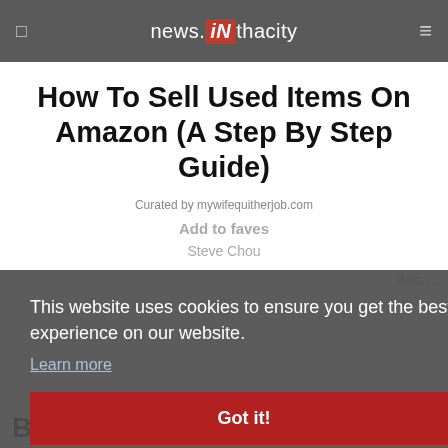news.iN thacity
How To Sell Used Items On Amazon (A Step By Step Guide)
Curated by mywifequitherjob.com
Add to faves
Steve Chou
...dels ...
This website uses cookies to ensure you get the best experience on our website.
Learn more
Got it!
ace
BigCommerce Brand and